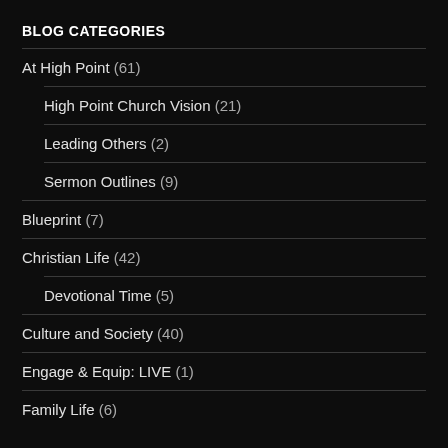BLOG CATEGORIES
At High Point (61)
High Point Church Vision (21)
Leading Others (2)
Sermon Outlines (9)
Blueprint (7)
Christian Life (42)
Devotional Time (5)
Culture and Society (40)
Engage & Equip: LIVE (1)
Family Life (6)